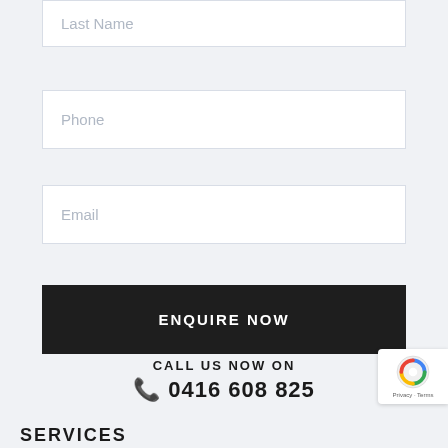Last Name
Phone
Email
ENQUIRE NOW
CALL US NOW ON
0416 608 825
SERVICES